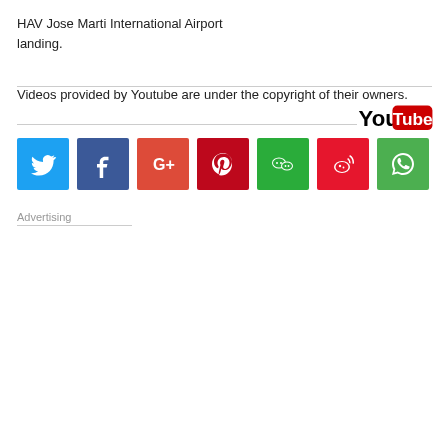HAV Jose Marti International Airport landing.
Videos provided by Youtube are under the copyright of their owners.
[Figure (logo): YouTube logo — red rectangle with white play button, black 'You' text and white 'Tube' text on red]
[Figure (infographic): Row of 7 social media icon buttons: Twitter (blue bird), Facebook (blue f), Google+ (red/orange G+), Pinterest (red P), WeChat (green chat bubbles), Weibo (red bird), WhatsApp (green phone)]
Advertising